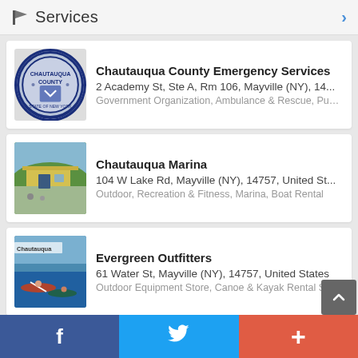Services
Chautauqua County Emergency Services
2 Academy St, Ste A, Rm 106, Mayville (NY), 14...
Government Organization, Ambulance & Rescue, Publi...
Chautauqua Marina
104 W Lake Rd, Mayville (NY), 14757, United St...
Outdoor, Recreation & Fitness, Marina, Boat Rental
Evergreen Outfitters
61 Water St, Mayville (NY), 14757, United States
Outdoor Equipment Store, Canoe & Kayak Rental Shop,...
Ambiance Salon and Spa
36 S Erie St, Mayville (NY), 14757, United States